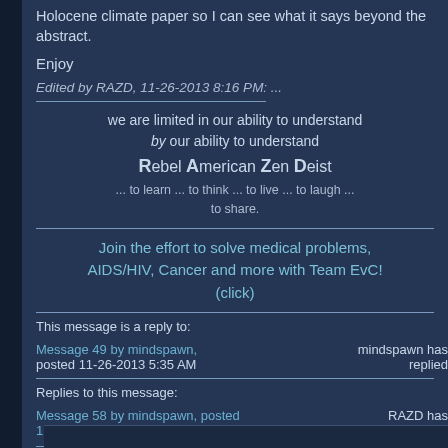Holocene climate paper so I can see what it says beyond the abstract.
Enjoy
Edited by RAZD, 11-26-2013 8:16 PM: ...
we are limited in our ability to understand by our ability to understand Rebel American Zen Deist ... to learn ... to think ... to live ... to laugh ... to share.
Join the effort to solve medical problems, AIDS/HIV, Cancer and more with Team EvC! (click)
This message is a reply to:
Message 49 by mindspawn, posted 11-26-2013 5:35 AM
mindspawn has replied
Replies to this message:
Message 58 by mindspawn, posted 11-27-2013 5:51 AM
RAZD has replied